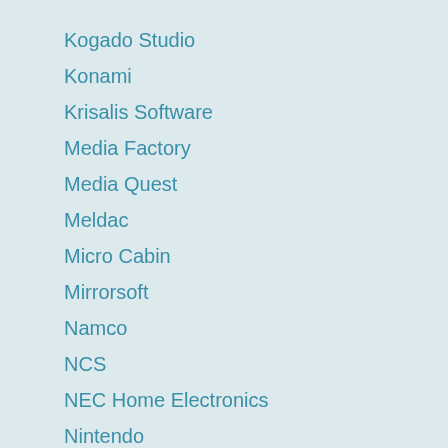Kogado Studio
Konami
Krisalis Software
Media Factory
Media Quest
Meldac
Micro Cabin
Mirrorsoft
Namco
NCS
NEC Home Electronics
Nintendo
Nippon Ichi